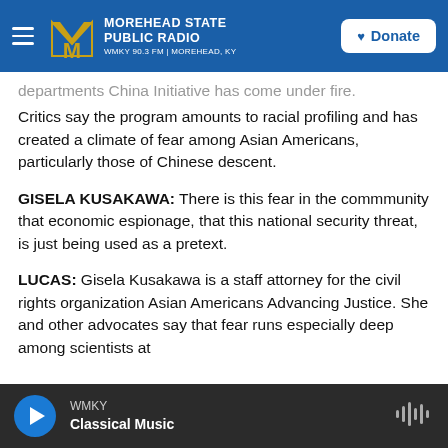Morehead State Public Radio — WMKY 90.3 FM | Morehead, KY — Donate
departments China Initiative has come under fire. Critics say the program amounts to racial profiling and has created a climate of fear among Asian Americans, particularly those of Chinese descent.
GISELA KUSAKAWA: There is this fear in the commmunity that economic espionage, that this national security threat, is just being used as a pretext.
LUCAS: Gisela Kusakawa is a staff attorney for the civil rights organization Asian Americans Advancing Justice. She and other advocates say that fear runs especially deep among scientists at
WMKY — Classical Music